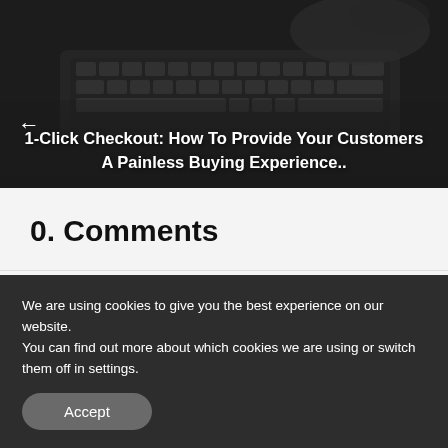[Figure (photo): Dark hero image showing a laptop keyboard from above with a hand, dark overlay applied]
1-Click Checkout: How To Provide Your Customers A Painless Buying Experience..
0.  Comments
Leave a Comment
We are using cookies to give you the best experience on our website.
You can find out more about which cookies we are using or switch them off in settings.
Accept